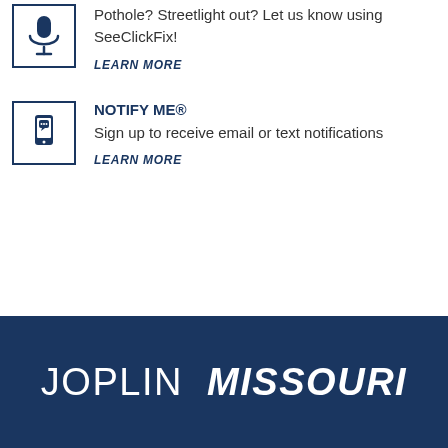[Figure (illustration): Dark blue microphone icon inside a bordered square box]
Pothole? Streetlight out? Let us know using SeeClickFix!
LEARN MORE
[Figure (illustration): Dark blue mobile phone with chat bubble icon inside a bordered square box]
NOTIFY ME®
Sign up to receive email or text notifications
LEARN MORE
JOPLIN MISSOURI